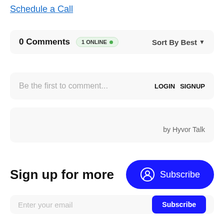Schedule a Call
0 Comments   1 ONLINE •   Sort By Best ▼
Be the first to comment...   LOGIN   SIGNUP
by Hyvor Talk
Sign up for more
Subscribe
Enter your email